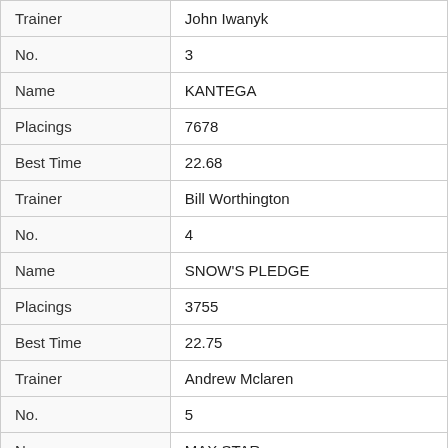| Field | Value |
| --- | --- |
| Trainer | John Iwanyk |
| No. | 3 |
| Name | KANTEGA |
| Placings | 7678 |
| Best Time | 22.68 |
| Trainer | Bill Worthington |
| No. | 4 |
| Name | SNOW'S PLEDGE |
| Placings | 3755 |
| Best Time | 22.75 |
| Trainer | Andrew Mclaren |
| No. | 5 |
| Name | MAX STAR |
| Placings | 4717 |
| Best Time | 22.83 |
| Trainer | Enzo Crudeli |
| No. | 6 |